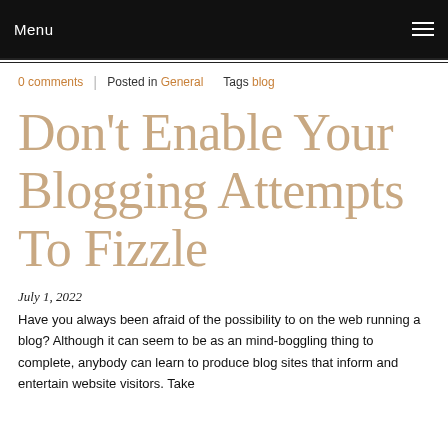Menu
0 comments | Posted in General  Tags blog
Don't Enable Your Blogging Attempts To Fizzle
July 1, 2022
Have you always been afraid of the possibility to on the web running a blog? Although it can seem to be as an mind-boggling thing to complete, anybody can learn to produce blog sites that inform and entertain website visitors. Take